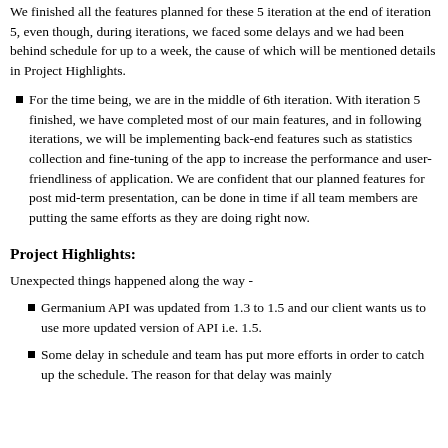We finished all the features planned for these 5 iteration at the end of iteration 5, even though, during iterations, we faced some delays and we had been behind schedule for up to a week, the cause of which will be mentioned details in Project Highlights.
For the time being, we are in the middle of 6th iteration. With iteration 5 finished, we have completed most of our main features, and in following iterations, we will be implementing back-end features such as statistics collection and fine-tuning of the app to increase the performance and user-friendliness of application. We are confident that our planned features for post mid-term presentation, can be done in time if all team members are putting the same efforts as they are doing right now.
Project Highlights:
Unexpected things happened along the way -
Germanium API was updated from 1.3 to 1.5 and our client wants us to use more updated version of API i.e. 1.5.
Some delay in schedule and team has put more efforts in order to catch up the schedule. The reason for that delay was mainly